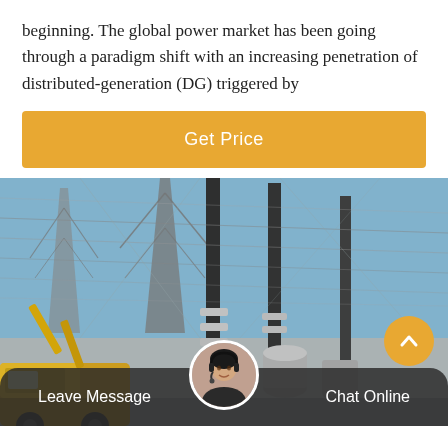beginning. The global power market has been going through a paradigm shift with an increasing penetration of distributed-generation (DG) triggered by
Get Price
[Figure (photo): Electrical power substation with high-voltage transmission towers, insulators, wires, and a yellow utility truck in the foreground under a blue sky.]
Leave Message   Chat Online